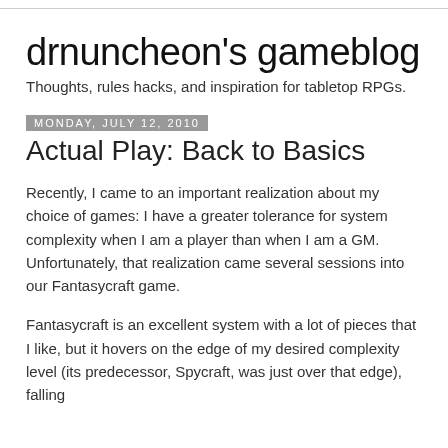drnuncheon's gameblog
Thoughts, rules hacks, and inspiration for tabletop RPGs.
Monday, July 12, 2010
Actual Play: Back to Basics
Recently, I came to an important realization about my choice of games: I have a greater tolerance for system complexity when I am a player than when I am a GM.  Unfortunately, that realization came several sessions into our Fantasycraft game.
Fantasycraft is an excellent system with a lot of pieces that I like, but it hovers on the edge of my desired complexity level (its predecessor, Spycraft, was just over that edge), falling